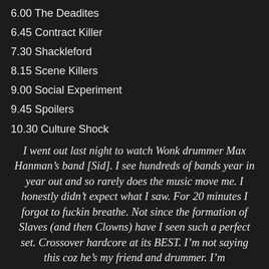6.00 The Deadites
6.45 Contract Killer
7.30 Shackleford
8.15 Scene Killers
9.00 Social Experiment
9.45 Spoilers
10.30 Culture Shock
I went out last night to watch Wonk drummer Max Hanman’s band [Sid]. I see hundreds of bands year in year out and so rarely does the music move me. I honestly didn’t expect what I saw. For 20 minutes I forgot to fuckin breathe. Not since the formation of Slaves (and then Clowns) have I seen such a perfect set. Crossover hardcore at its BEST. I’m not saying this coz he’s my friend and drummer. I’m